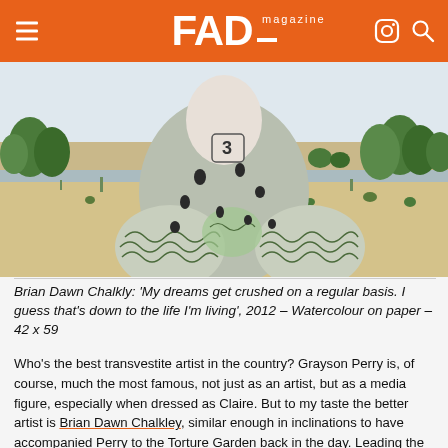FAD magazine
[Figure (illustration): Painting showing a figure in a grey spotted outfit with brain-like pattern elements, standing in a flat landscape with trees and sandy ground. Watercolour on paper.]
Brian Dawn Chalkly: 'My dreams get crushed on a regular basis. I guess that's down to the life I'm living', 2012 – Watercolour on paper – 42 x 59
Who's the best transvestite artist in the country? Grayson Perry is, of course, much the most famous, not just as an artist, but as a media figure, especially when dressed as Claire. But to my taste the better artist is Brian Dawn Chalkley, similar enough in inclinations to have accompanied Perry to the Torture Garden back in the day. Leading the MA at Chelsea College as Brian and going out as Dawn by night, he's an abstract painter who